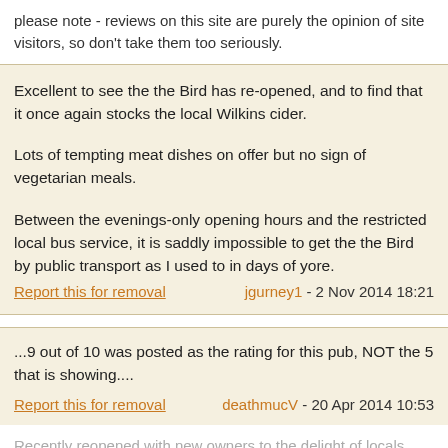please note - reviews on this site are purely the opinion of site visitors, so don't take them too seriously.
Excellent to see the the Bird has re-opened, and to find that it once again stocks the local Wilkins cider.

Lots of tempting meat dishes on offer but no sign of vegetarian meals.

Between the evenings-only opening hours and the restricted local bus service, it is saddly impossible to get the the Bird by public transport as I used to in days of yore.
Report this for removal    jgurney1 - 2 Nov 2014 18:21
...9 out of 10 was posted as the rating for this pub, NOT the 5 that is showing....
Report this for removal    deathmucV - 20 Apr 2014 10:53
Recently reopened with new owners to the delight of locals...